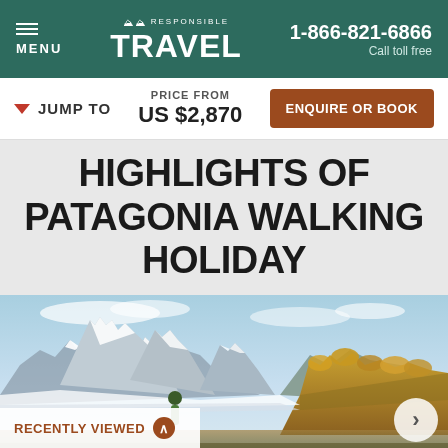MENU | RESPONSIBLE TRAVEL | 1-866-821-6866 Call toll free
JUMP TO | PRICE FROM US $2,870 | ENQUIRE OR BOOK
HIGHLIGHTS OF PATAGONIA WALKING HOLIDAY
[Figure (photo): Person standing before dramatic Patagonian mountain peaks (Fitz Roy range) with autumn-colored trees and blue sky]
RECENTLY VIEWED